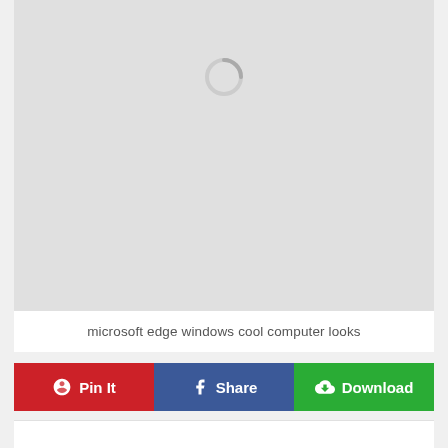[Figure (screenshot): Gray loading area with a circular spinner icon in the upper center]
microsoft edge windows cool computer looks
[Figure (infographic): Action bar with three buttons: Pin It (red, Pinterest icon), Share (blue, Facebook icon), Download (green, cloud-download icon)]